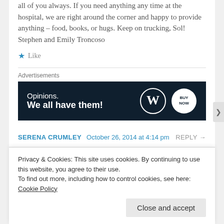all of you always. If you need anything any time at the hospital, we are right around the corner and happy to provide anything – food, books, or hugs. Keep on trucking, Sol! Stephen and Emily Troncoso
★ Like
Advertisements
[Figure (infographic): WordPress advertisement banner with dark navy background. Text reads 'Opinions. We all have them!' with WordPress logo and a circular 'Buy Now' button on the right.]
SERENA CRUMLEY   October 26, 2014 at 4:14 pm   REPLY →
Privacy & Cookies: This site uses cookies. By continuing to use this website, you agree to their use. To find out more, including how to control cookies, see here: Cookie Policy
Close and accept